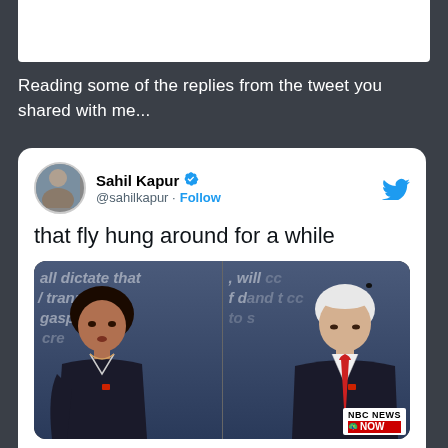[Figure (screenshot): Top portion of a white image/card visible at the very top of the screen, partially cropped]
Reading some of the replies from the tweet you shared with me...
[Figure (screenshot): Embedded tweet card from @sahilkapur reading 'that fly hung around for a while' with a side-by-side debate photo of Kamala Harris and Mike Pence (fly on Pence's head), timestamped 2:20 AM · Oct 8, 2020, NBC News NOW bug visible]